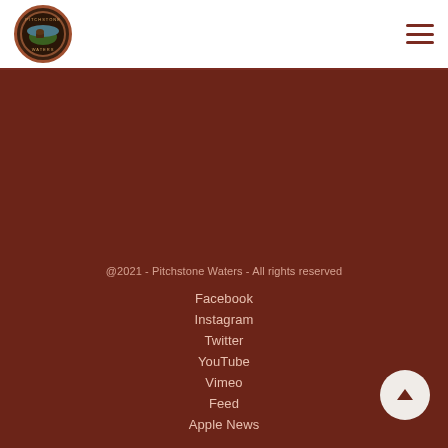[Figure (logo): Pitchstone Waters circular logo with bison/landscape illustration]
@2021 - Pitchstone Waters - All rights reserved
Facebook
Instagram
Twitter
YouTube
Vimeo
Feed
Apple News